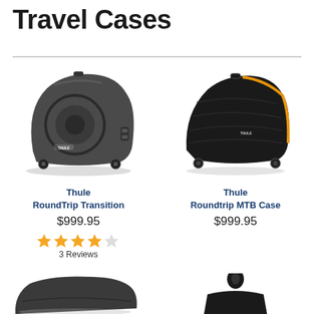Travel Cases
[Figure (photo): Thule RoundTrip Transition hard-shell bike travel case in dark gray with wheels]
[Figure (photo): Thule Roundtrip MTB Case soft-shell bike travel case in black with orange trim and wheels]
Thule
RoundTrip Transition
$999.95
3 Reviews
Thule
Roundtrip MTB Case
$999.95
[Figure (photo): Partial view of another Thule bike case, dark gray, bottom of page left]
[Figure (photo): Partial view of another Thule bike bag/case, dark, bottom of page right]